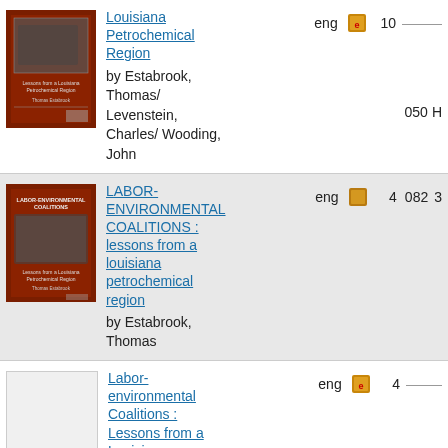| Cover | Title/Author | Lang | Format | Copies | Dewey | LC |
| --- | --- | --- | --- | --- | --- | --- |
| [book cover] | Louisiana Petrochemical Region by Estabrook, Thomas/ Levenstein, Charles/ Wooding, John | eng | [icon] | 10 | 050 | H |
| [book cover] | LABOR-ENVIRONMENTAL COALITIONS : lessons from a louisiana petrochemical region by Estabrook, Thomas | eng | [icon] | 4 | 082 | 3 |
| [blank cover] | Labor-environmental Coalitions : Lessons from a Louisiana Petrochemical Region by Estabrook, Thomas | eng | [icon] | 4 | 082 / 050 | 3 / H |